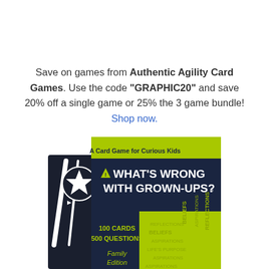Save on games from Authentic Agility Card Games. Use the code "GRAPHIC20" and save 20% off a single game or 25% the 3 game bundle! Shop now.
[Figure (photo): Product photo of 'What's Wrong With Grown-Ups?' card game box — A Card Game for Curious Kids. Dark navy and bright green-yellow box showing 100 Cards, 500 Questions, Family Edition. Words like BELIEFS, ASPIRATIONS, REFLECTIONS, LIFE'S PURPOSE visible on the side.]